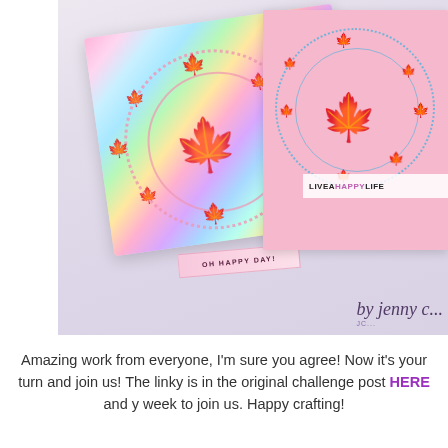[Figure (photo): Crafting photo showing two handmade cards with holographic and pink backgrounds featuring circular leaf die-cut designs. One card is holographic rainbow with pink leaf cutouts arranged in a circle and a small sentiment strip reading 'OH HAPPY DAY'. The other card is pink with colorful foil leaf accents in a circle. A 'LIVEAHAPPYLIFE' logo appears on the pink card. Script signature 'by jenny c...' appears bottom right.]
Amazing work from everyone, I'm sure you agree! Now it's your turn and join us! The linky is in the original challenge post HERE and y week to join us. Happy crafting!